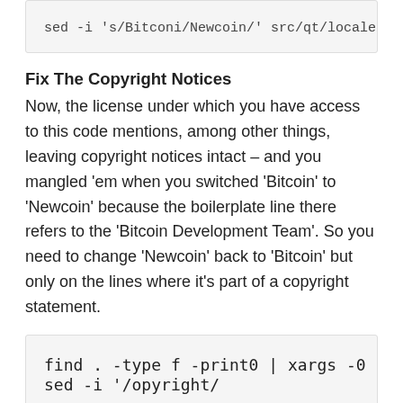[Figure (screenshot): Code block showing: sed -i 's/Bitconi/Newcoin/' src/qt/locale/newcoin_et]
Fix The Copyright Notices
Now, the license under which you have access to this code mentions, among other things, leaving copyright notices intact – and you mangled 'em when you switched 'Bitcoin' to 'Newcoin' because the boilerplate line there refers to the 'Bitcoin Development Team'. So you need to change 'Newcoin' back to 'Bitcoin' but only on the lines where it's part of a copyright statement.
[Figure (screenshot): Code block showing: find . -type f -print0 | xargs -0 sed -i '/opyright/]
sorts that. I left the first letter off of 'Copyright' because I didn't want it to care about the capitalization. You'll be adding